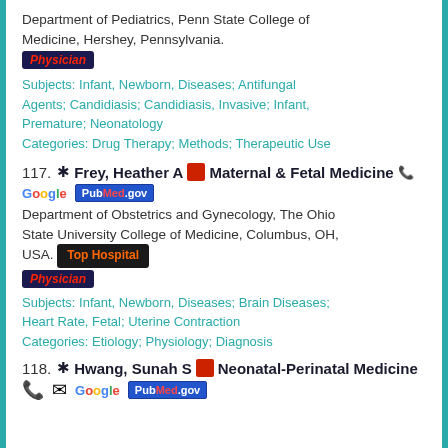Department of Pediatrics, Penn State College of Medicine, Hershey, Pennsylvania.
Physician
Subjects: Infant, Newborn, Diseases; Antifungal Agents; Candidiasis; Candidiasis, Invasive; Infant, Premature; Neonatology
Categories: Drug Therapy; Methods; Therapeutic Use
117. ✳Frey, Heather A 🧑‍⚕️ Maternal & Fetal Medicine 📞
Google PubMed.gov
Department of Obstetrics and Gynecology, The Ohio State University College of Medicine, Columbus, OH, USA.
Top Hospital
Physician
Subjects: Infant, Newborn, Diseases; Brain Diseases; Heart Rate, Fetal; Uterine Contraction
Categories: Etiology; Physiology; Diagnosis
118. ✳Hwang, Sunah S 🧑‍⚕️ Neonatal-Perinatal Medicine